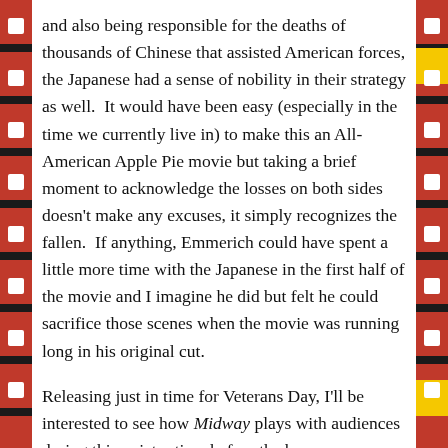and also being responsible for the deaths of thousands of Chinese that assisted American forces, the Japanese had a sense of nobility in their strategy as well.  It would have been easy (especially in the time we currently live in) to make this an All-American Apple Pie movie but taking a brief moment to acknowledge the losses on both sides doesn't make any excuses, it simply recognizes the fallen.  If anything, Emmerich could have spent a little more time with the Japanese in the first half of the movie and I imagine he did but felt he could sacrifice those scenes when the movie was running long in his original cut.
Releasing just in time for Veterans Day, I'll be interested to see how Midway plays with audiences during this quieter time before the busy Thanksgiving holiday draws near.  Though the Battle of Midway has been filmed before (check out 1976's Midway starring Charlton Heston and Peter Fonda for a less visual effects heavy telling) and there's more to the story than can be told in 138 minutes (again, there's absolutely no stories involving women which was disappointing) I appreciated that Emmerich was restrained